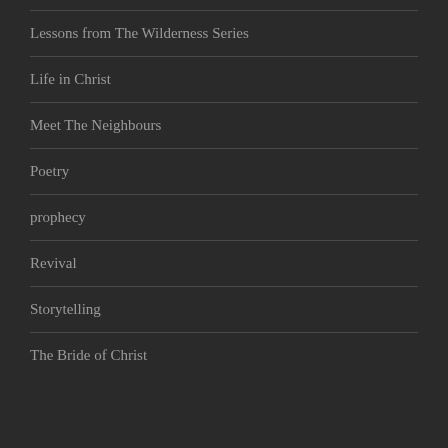Lessons from The Wilderness Series
Life in Christ
Meet The Neighbours
Poetry
prophecy
Revival
Storytelling
The Bride of Christ